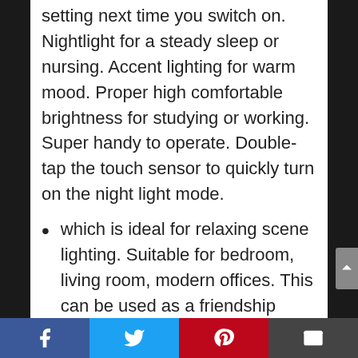setting next time you switch on. Nightlight for a steady sleep or nursing. Accent lighting for warm mood. Proper high comfortable brightness for studying or working. Super handy to operate. Double-tap the touch sensor to quickly turn on the night light mode.
which is ideal for relaxing scene lighting. Suitable for bedroom, living room, modern offices. This can be used as a friendship lamp, is also a good choice for gift ideas for college student boys and girls. At the same time, This is also an
Facebook | Twitter | Pinterest | Email